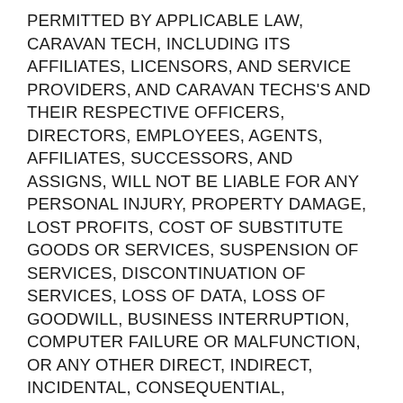PERMITTED BY APPLICABLE LAW, CARAVAN TECH, INCLUDING ITS AFFILIATES, LICENSORS, AND SERVICE PROVIDERS, AND CARAVAN TECHS'S AND THEIR RESPECTIVE OFFICERS, DIRECTORS, EMPLOYEES, AGENTS, AFFILIATES, SUCCESSORS, AND ASSIGNS, WILL NOT BE LIABLE FOR ANY PERSONAL INJURY, PROPERTY DAMAGE, LOST PROFITS, COST OF SUBSTITUTE GOODS OR SERVICES, SUSPENSION OF SERVICES, DISCONTINUATION OF SERVICES, LOSS OF DATA, LOSS OF GOODWILL, BUSINESS INTERRUPTION, COMPUTER FAILURE OR MALFUNCTION, OR ANY OTHER DIRECT, INDIRECT, INCIDENTAL, CONSEQUENTIAL, EXEMPLARY, SPECIAL, OR PUNITIVE DAMAGE, AND COSTS, EXPENSES, AND PAYMENTS, ARISING FROM OR RELATING TO CUSTOMER'S USE OF OR INABILITY TO USE THE SERVICES. THE FOREGOING LIMITATIONS SHALL APPLY WHETHER SUCH DAMAGES ARISE OUT OF